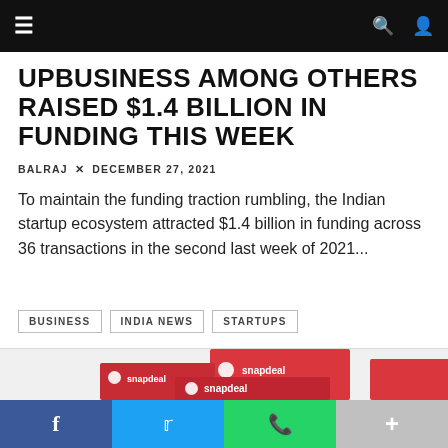≡  🔍  👤
UPBUSINESS AMONG OTHERS RAISED $1.4 BILLION IN FUNDING THIS WEEK
BALRAJ × DECEMBER 27, 2021
To maintain the funding traction rumbling, the Indian startup ecosystem attracted $1.4 billion in funding across 36 transactions in the second last week of 2021...
BUSINESS
INDIA NEWS
STARTUPS
[Figure (photo): Stacked red Snapdeal branded boxes arranged in a staircase pattern, showing Snapdeal e-commerce packaging]
f  t  WhatsApp  +